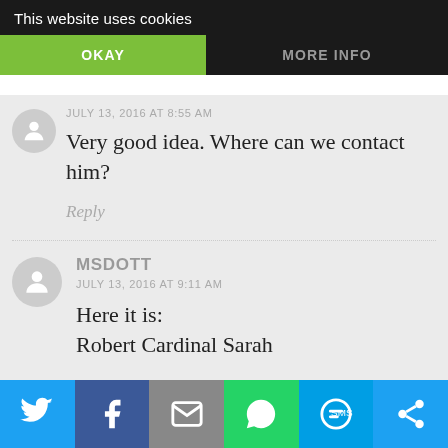This website uses cookies
OKAY
MORE INFO
JULY 13, 2016 AT 8:55 AM
Very good idea. Where can we contact him?
Reply
MSDOTT
JULY 13, 2016 AT 9:11 AM
Here it is:
Robert Cardinal Sarah